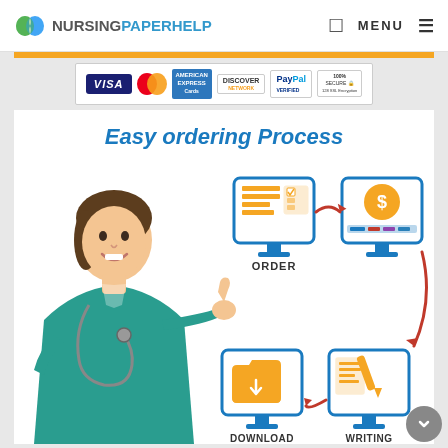NURSINGPAPERHELP | MENU
[Figure (infographic): Payment method logos: VISA, MasterCard, American Express, Discover, PayPal, 100% Secure 128 SSL Encryption]
[Figure (infographic): Easy ordering Process diagram showing a nurse holding up a thumb, with 4 steps: ORDER (document icon on monitor), payment (dollar sign on monitor with credit cards), WRITING (document/pen on monitor), DOWNLOAD (folder icon on monitor). Steps connected by red curved arrows in a cycle.]
Easy ordering Process